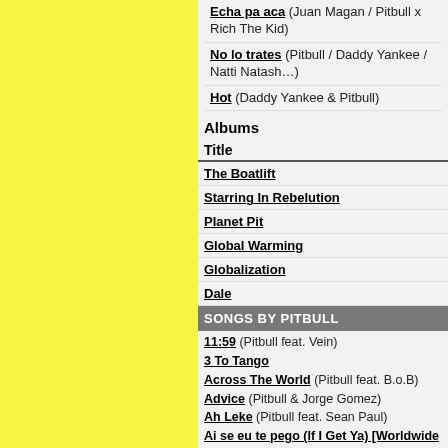Echa pa aca (Juan Magan / Pitbull x Rich The Kid)
No lo trates (Pitbull / Daddy Yankee / Natti Natasha)
Hot (Daddy Yankee & Pitbull)
Albums
| Title |
| --- |
| The Boatlift |
| Starring In Rebelution |
| Planet Pit |
| Global Warming |
| Globalization |
| Dale |
SONGS BY PITBULL
11:59 (Pitbull feat. Vein)
3 To Tango
Across The World (Pitbull feat. B.o.B)
Advice (Pitbull & Jorge Gomez)
Ah Leke (Pitbull feat. Sean Paul)
Ai se eu te pego (If I Get Ya) [Worldwide Remix] (Michel Teló feat. Pitbull)
All Night (Team Pitbull feat. Pitbull & David Rush)
All Night Long (Alexandra Burke feat. Pitbull)
All Of The Girls (Cris Cab feat. Pitbull)
All The Things (Pitbull feat. Inna)
Amore (Pitbull feat. Leona Lewis)
Amorosa (Pitbull feat. Papayo)
Another Round (Nicola Fasano & Alex Guesta feat. Mohombi & Pitbull)
Armada Latina (Cypress Hill feat. Pitbull & Marc Anthony)